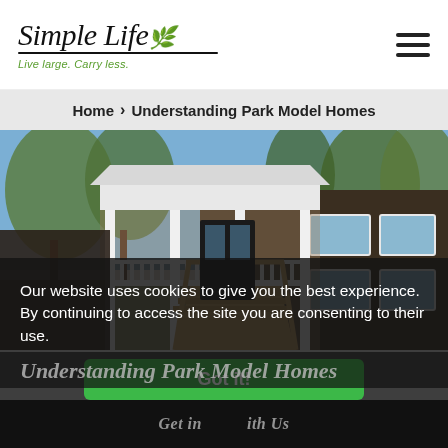[Figure (logo): Simple Life logo with cursive text, green leaf icon, underline, and tagline 'Live large. Carry less.']
Home > Understanding Park Model Homes
[Figure (photo): Exterior photo of a small park model home with white covered porch, wooden deck stairs, dark wood siding, multiple windows, surrounded by trees]
Our website uses cookies to give you the best experience. By continuing to access the site you are consenting to their use.
Understanding Park Model Homes
Get in touch with Us